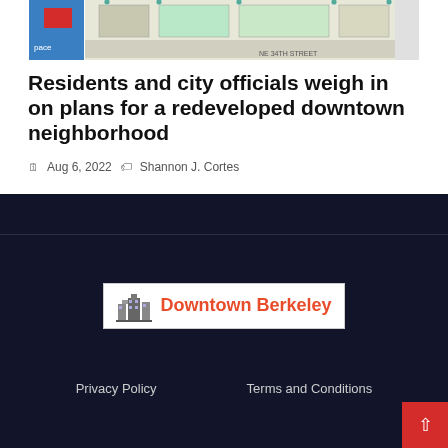[Figure (map): Aerial/plan view map showing a downtown neighborhood block layout with streets including NE 34th Street]
Residents and city officials weigh in on plans for a redeveloped downtown neighborhood
Aug 6, 2022  Shannon J. Cortes
[Figure (logo): Downtown Berkeley logo with building icon and red text]
Privacy Policy   Terms and Conditions